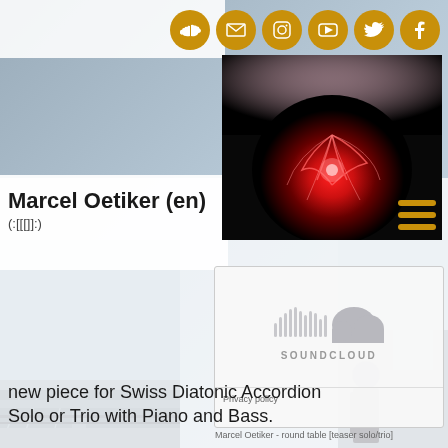[Figure (screenshot): Website screenshot of Marcel Oetiker (en) personal music page showing social media icons (SoundCloud, email, Instagram, YouTube, Twitter, Facebook), a plasma ball video thumbnail, a SoundCloud audio embed player, and text about a new piece for Swiss Diatonic Accordion]
Marcel Oetiker (en)
(:[[[]]:)
Marcel Oetiker - round table [teaser solo/trio]
new piece for Swiss Diatonic Accordion Solo or Trio with Piano and Bass.